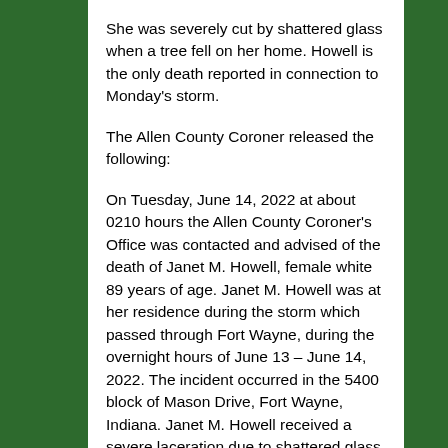She was severely cut by shattered glass when a tree fell on her home. Howell is the only death reported in connection to Monday's storm.
The Allen County Coroner released the following:
On Tuesday, June 14, 2022 at about 0210 hours the Allen County Coroner's Office was contacted and advised of the death of Janet M. Howell, female white 89 years of age. Janet M. Howell was at her residence during the storm which passed through Fort Wayne, during the overnight hours of June 13 – June 14, 2022. The incident occurred in the 5400 block of Mason Drive, Fort Wayne, Indiana. Janet M. Howell received a severe laceration due to shattered glass from the storm. Emergency services were dispatched to the home and transported her to a local hospital. Janet M. Howell was taken to the operating room but died as a